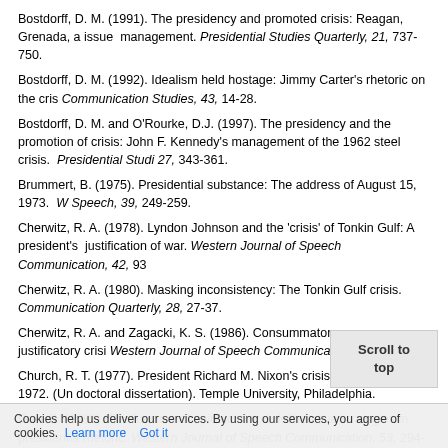Bostdorff, D. M. (1991). The presidency and promoted crisis: Reagan, Grenada, a issue management. Presidential Studies Quarterly, 21, 737-750.
Bostdorff, D. M. (1992). Idealism held hostage: Jimmy Carter's rhetoric on the cris Communication Studies, 43, 14-28.
Bostdorff, D. M. and O'Rourke, D.J. (1997). The presidency and the promotion of crisis: John F. Kennedy's management of the 1962 steel crisis. Presidential Studi 27, 343-361.
Brummert, B. (1975). Presidential substance: The address of August 15, 1973. W Speech, 39, 249-259.
Cherwitz, R. A. (1978). Lyndon Johnson and the 'crisis' of Tonkin Gulf: A president's justification of war. Western Journal of Speech Communication, 42, 93
Cherwitz, R. A. (1980). Masking inconsistency: The Tonkin Gulf crisis. Communication Quarterly, 28, 27-37.
Cherwitz, R. A. and Zagacki, K. S. (1986). Consummatory versus justificatory crisi Western Journal of Speech Communication, 50, 307-324.
Church, R. T. (1977). President Richard M. Nixon's crisis rhetoric, 1969-1972. (Un doctoral dissertation). Temple University, Philadelphia.
Dow, B. (1989). The function of epideictic and deliberative strategies in presidentia rhetoric. Western Journal of Speech Communication, 53, 294-310
Dowling, R. E. and Marraro, G. (1986). Grenada and the great A st democratic edition. Western Journal of Speech Communication
Edelman, M. (1977)...Western Journal of Speech Communication, 50-550 g Academuc Press